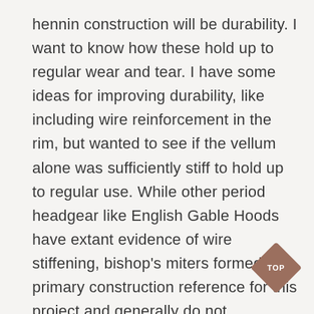hennin construction will be durability. I want to know how these hold up to regular wear and tear. I have some ideas for improving durability, like including wire reinforcement in the rim, but wanted to see if the vellum alone was sufficiently stiff to hold up to regular use. While other period headgear like English Gable Hoods have extant evidence of wire stiffening, bishop's miters formed the primary construction reference for this project and generally do not.

Overall, this was a really fun project I anticipate wearing and expanding on for a long time. I learned a lot making
[Figure (other): A brown diamond-shaped badge with the text 'TOP' in white letters]